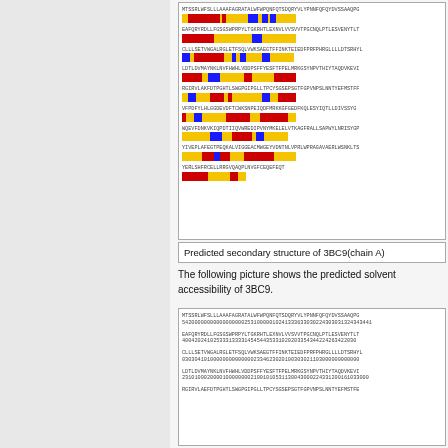[Figure (other): Predicted secondary structure visualization of 3BC9 (chain A) showing amino acid sequence with colored blocks: yellow=coil, red=helix, blue=strand]
Predicted secondary structure of 3BC9(chain A)
The following picture shows the predicted solvent accessibility of 3BC9.
[Figure (other): Predicted solvent accessibility of 3BC9 showing amino acid sequence with numeric accessibility values below each line]